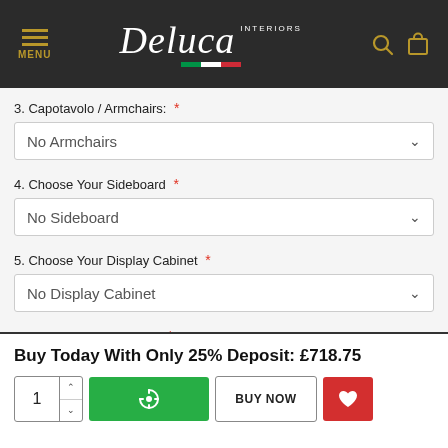[Figure (logo): Deluca Interiors logo on dark background with Italian flag colors, menu hamburger icon on left, search and bag icons on right]
3. Capotavolo / Armchairs: *
No Armchairs
4. Choose Your Sideboard *
No Sideboard
5. Choose Your Display Cabinet *
No Display Cabinet
6. Other Matching Pieces *
No Other Pieces
Buy Today With Only 25% Deposit: £718.75
BUY NOW